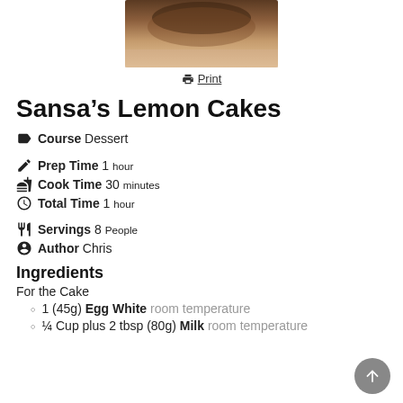[Figure (photo): Photo of a cupcake or cake from above, cropped showing brown baked top]
Print
Sansa’s Lemon Cakes
Course Dessert
Prep Time 1 hour
Cook Time 30 minutes
Total Time 1 hour
Servings 8 People
Author Chris
Ingredients
For the Cake
1 (45g) Egg White room temperature
¼ Cup plus 2 tbsp (80g) Milk room temperature